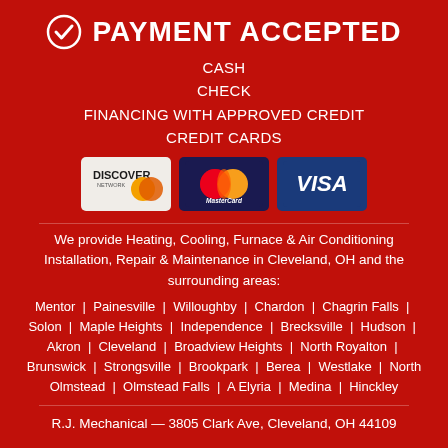PAYMENT ACCEPTED
CASH
CHECK
FINANCING WITH APPROVED CREDIT
CREDIT CARDS
[Figure (logo): Discover Network, MasterCard, and Visa credit card logos]
We provide Heating, Cooling, Furnace & Air Conditioning Installation, Repair & Maintenance in Cleveland, OH and the surrounding areas:
Mentor | Painesville | Willoughby | Chardon | Chagrin Falls | Solon | Maple Heights | Independence | Brecksville | Hudson | Akron | Cleveland | Broadview Heights | North Royalton | Brunswick | Strongsville | Brookpark | Berea | Westlake | North Olmstead | Olmstead Falls | A Elyria | Medina | Hinckley
R.J. Mechanical — 3805 Clark Ave, Cleveland, OH 44109